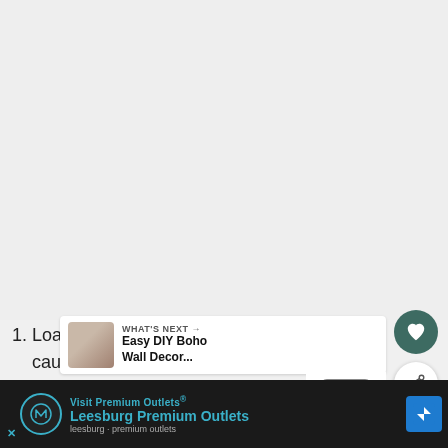[Figure (screenshot): Large light gray empty content area occupying the top portion of the page, part of a web or app interface]
1. Load the adhesive tube into the caulking gun.
2. Trim the nozzle...
[Figure (infographic): WHAT'S NEXT arrow label with thumbnail image and title: Easy DIY Boho Wall Decor...]
[Figure (logo): M logo watermark icon]
[Figure (screenshot): Advertisement bar at bottom: Visit Premium Outlets - Leesburg Premium Outlets with directions icon. X close button, circular logo icon, and blue text.]